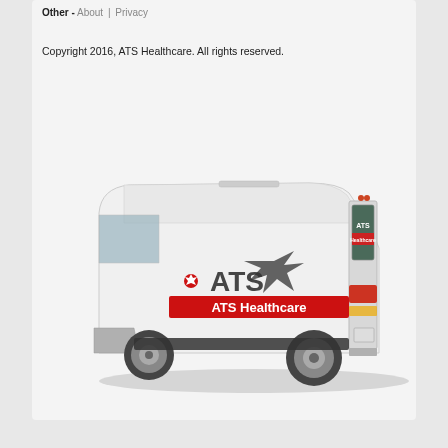Other - About | Privacy
Copyright 2016, ATS Healthcare. All rights reserved.
[Figure (photo): White ATS Healthcare delivery van with ATS logo and red ATS Healthcare banner on the side, photographed from a rear three-quarter angle.]